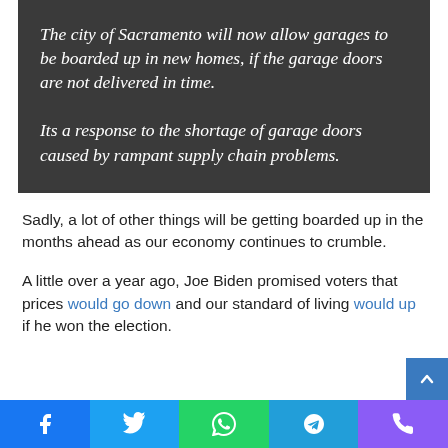The city of Sacramento will now allow garages to be boarded up in new homes, if the garage doors are not delivered in time.

Its a response to the shortage of garage doors caused by rampant supply chain problems.
Sadly, a lot of other things will be getting boarded up in the months ahead as our economy continues to crumble.
A little over a year ago, Joe Biden promised voters that prices would go down and our standard of living would up if he won the election.